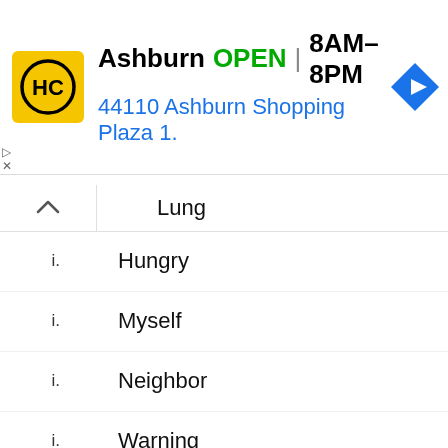[Figure (screenshot): Advertisement banner for HC store in Ashburn. Shows yellow logo with HC text, store name Ashburn, OPEN status, hours 8AM-8PM, address 44110 Ashburn Shopping Plaza 1., and navigation icon.]
Lung
Hungry
Myself
Neighbor
Warning
Couch
Flag
Tip